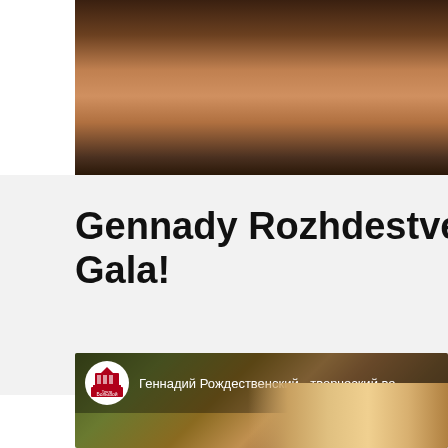[Figure (photo): Close-up photo of a person's face/neck, partially cropped, dark background]
Gennady Rozhdestvensky Gala!
[Figure (screenshot): Video thumbnail from Bolshoi Theatre showing text 'Геннадий Рождественский - творческий ве...' with Bolshoi Theatre logo and two people visible]